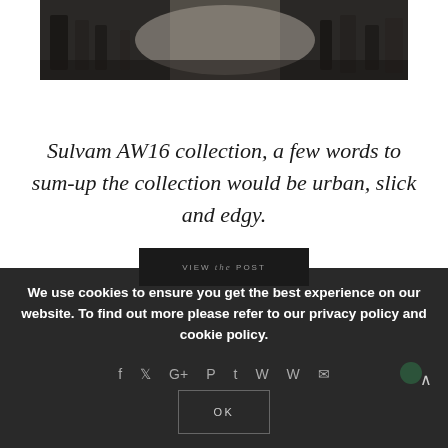[Figure (photo): Horizontal photo strip showing a fashion runway or backstage scene with dark/muted tones, figures visible in background]
Sulvam AW16 collection, a few words to sum-up the collection would be urban, slick and edgy.
VIEW the POST
We use cookies to ensure you get the best experience on our website. To find out more please refer to our privacy policy and cookie policy.
OK